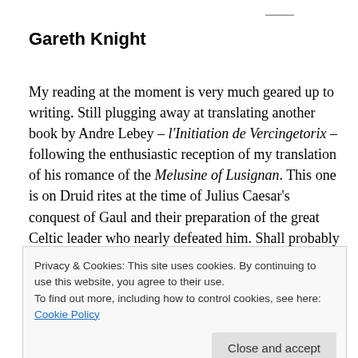Gareth Knight
My reading at the moment is very much geared up to writing. Still plugging away at translating another book by Andre Lebey – l'Initiation de Vercingetorix – following the enthusiastic reception of my translation of his romance of the Melusine of Lusignan. This one is on Druid rites at the time of Julius Caesar's conquest of Gaul and their preparation of the great Celtic leader who nearly defeated him. Shall probably retitle the translation Druids
Privacy & Cookies: This site uses cookies. By continuing to use this website, you agree to their use.
To find out more, including how to control cookies, see here: Cookie Policy
species, and the traditions of Oberon, the Faery King. This